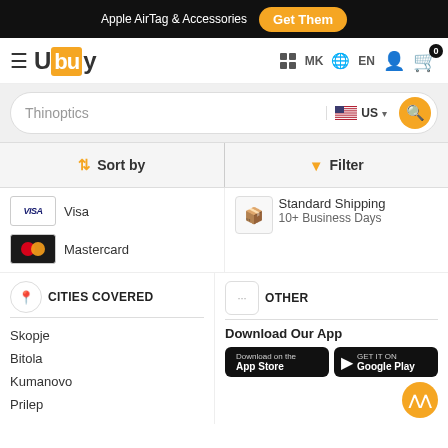Apple AirTag & Accessories  Get Them
[Figure (logo): Ubuy logo with hamburger menu, MK flag, EN language, user icon, and cart with badge 0]
[Figure (screenshot): Search bar with text 'Thinoptics', US flag country selector, and search button]
Sort by  |  Filter
[Figure (other): Visa payment card icon]
Visa
[Figure (other): Mastercard payment card icon]
Mastercard
Standard Shipping
10+ Business Days
CITIES COVERED
OTHER
Skopje
Bitola
Kumanovo
Prilep
Download Our App
[Figure (other): Download on the App Store button]
[Figure (other): Get it on Google Play button]